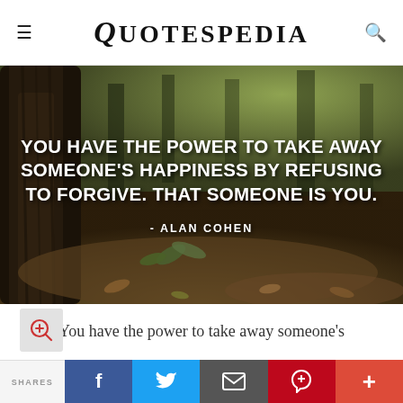QUOTESPEDIA
[Figure (photo): Nature background with tree trunk and forest floor with leaves. Overlaid bold white text quote: 'YOU HAVE THE POWER TO TAKE AWAY SOMEONE'S HAPPINESS BY REFUSING TO FORGIVE. THAT SOMEONE IS YOU.' attributed to - ALAN COHEN]
You have the power to take away someone's
SHARES | f | [twitter] | [email] | p | +